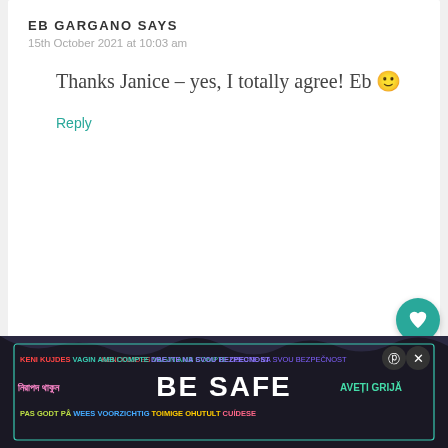EB GARGANO SAYS
15th October 2021 at 10:03 am
Thanks Janice – yes, I totally agree! Eb 🙂
Reply
HELEN SAYS
13th October 2021 at 2:20 pm
[Figure (infographic): BE SAFE multilingual ad banner with dark background and wavy edges, showing text in multiple languages: KENI KUJDES, VAGIN AMB COMPTE, DBEJTE NA SVOU BEZPECNOST, নিরাপদ থাকুন, BE SAFE, AVETI GRIJA, PAS GODT PA, WEES VOORZICHTIG, TOIMIGE OHUTULT, CUIDESE]